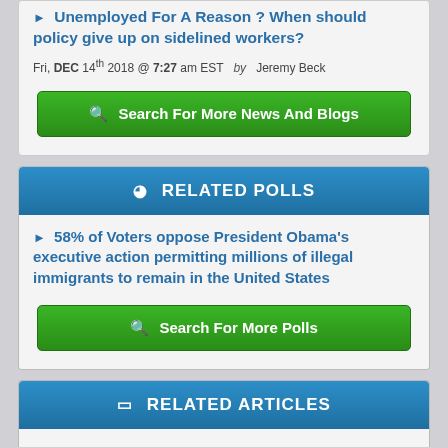Unemployed For A Reason ? When should policy give up on sidelined workers?
Fri, DEC 14th 2018 @ 7:27 am EST  by  Jeremy Beck
Search For More News And Blogs
RELATED POLLS
58% of Voters oppose President Obama's executive action permitting millions of illegal immigrants to remain in the United States
Search For More Polls
RELATED ARTICLES